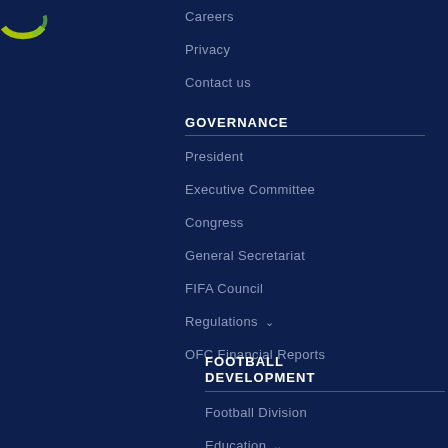[Figure (logo): OFC logo - partial green crescent shape on dark blue background]
Careers
Privacy
Contact us
GOVERNANCE
President
Executive Committee
Congress
General Secretariat
FIFA Council
Regulations ˅
OFC Financial Reports
FOOTBALL DEVELOPMENT
Football Division
Education ˅